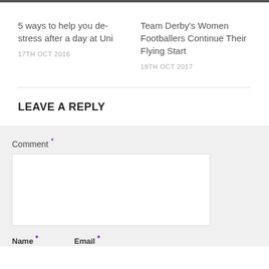5 ways to help you de-stress after a day at Uni
17TH OCT 2016
Team Derby's Women Footballers Continue Their Flying Start
19TH OCT 2017
LEAVE A REPLY
Comment *
Name *
Email *